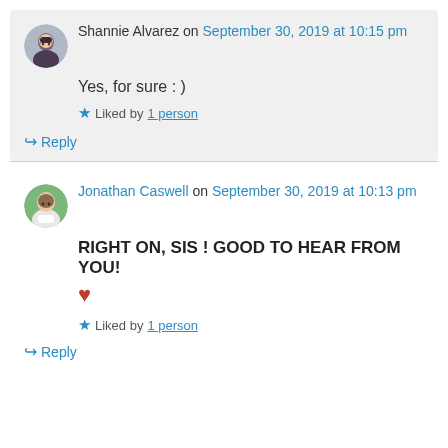Shannie Alvarez on September 30, 2019 at 10:15 pm
Yes, for sure : )
Liked by 1 person
Reply
Jonathan Caswell on September 30, 2019 at 10:13 pm
RIGHT ON, SIS ! GOOD TO HEAR FROM YOU! ❤
Liked by 1 person
Reply